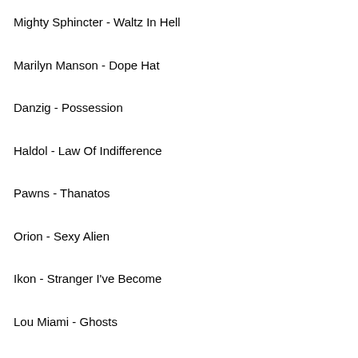Mighty Sphincter - Waltz In Hell
Marilyn Manson - Dope Hat
Danzig - Possession
Haldol - Law Of Indifference
Pawns - Thanatos
Orion - Sexy Alien
Ikon - Stranger I've Become
Lou Miami - Ghosts